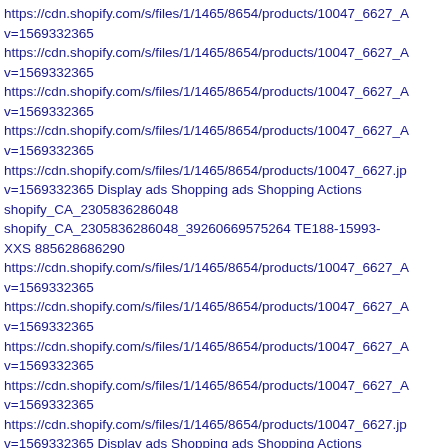https://cdn.shopify.com/s/files/1/1465/8654/products/10047_6627_A v=1569332365
https://cdn.shopify.com/s/files/1/1465/8654/products/10047_6627_A v=1569332365
https://cdn.shopify.com/s/files/1/1465/8654/products/10047_6627_A v=1569332365
https://cdn.shopify.com/s/files/1/1465/8654/products/10047_6627_A v=1569332365
https://cdn.shopify.com/s/files/1/1465/8654/products/10047_6627.jp v=1569332365 Display ads Shopping ads Shopping Actions shopify_CA_2305836286048 shopify_CA_2305836286048_39260669575264 TE188-15993-XXS 885628686290
https://cdn.shopify.com/s/files/1/1465/8654/products/10047_6627_A v=1569332365
https://cdn.shopify.com/s/files/1/1465/8654/products/10047_6627_A v=1569332365
https://cdn.shopify.com/s/files/1/1465/8654/products/10047_6627_A v=1569332365
https://cdn.shopify.com/s/files/1/1465/8654/products/10047_6627_A v=1569332365
https://cdn.shopify.com/s/files/1/1465/8654/products/10047_6627.jp v=1569332365 Display ads Shopping ads Shopping Actions shopify_CA_2305836286048 shopify_CA_2305836286048_39260667576416 TE188-15993-SM